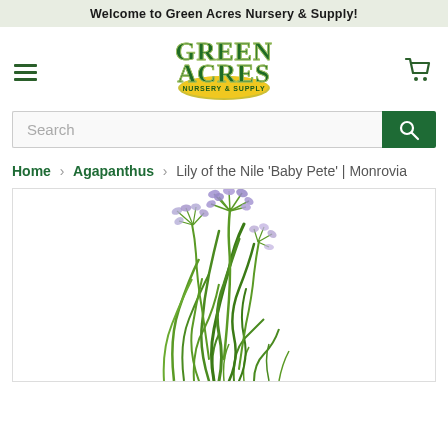Welcome to Green Acres Nursery & Supply!
[Figure (logo): Green Acres Nursery & Supply logo with hamburger menu and cart icon]
Search
Home > Agapanthus > Lily of the Nile 'Baby Pete' | Monrovia
[Figure (photo): Agapanthus 'Baby Pete' plant with purple-blue flowers on white background]